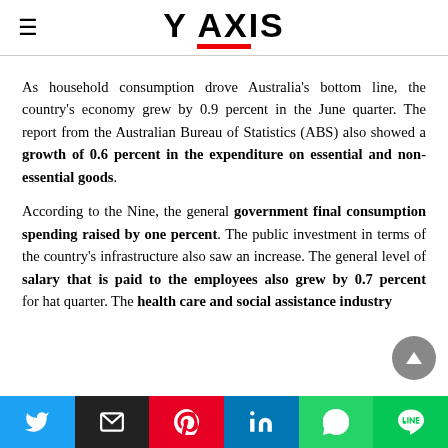Y AXIS
As household consumption drove Australia's bottom line, the country's economy grew by 0.9 percent in the June quarter. The report from the Australian Bureau of Statistics (ABS) also showed a growth of 0.6 percent in the expenditure on essential and non-essential goods.
According to the Nine, the general government final consumption spending raised by one percent. The public investment in terms of the country's infrastructure also saw an increase. The general level of salary that is paid to the employees also grew by 0.7 percent for that quarter. The health care and social assistance industry